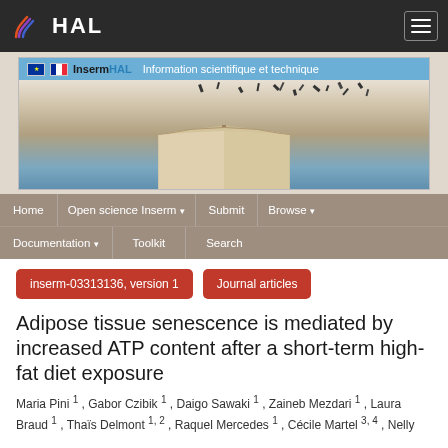HAL
[Figure (screenshot): Inserm HAL banner with open book illustration and text 'Information scientifique et technique']
Home | Open science Inserm ▾ | Submit | Browse ▾ | Documentation ▾ | Toolkit | Search
inserm-03313136, version 1
Journal articles
Adipose tissue senescence is mediated by increased ATP content after a short-term high-fat diet exposure
Maria Pini 1 , Gabor Czibik 1 , Daigo Sawaki 1 , Zaineb Mezdari 1 , Laura Braud 1 , Thaïs Delmont 1, 2 , Raquel Mercedes 1 , Cécile Martel 3, 4 , Nelly